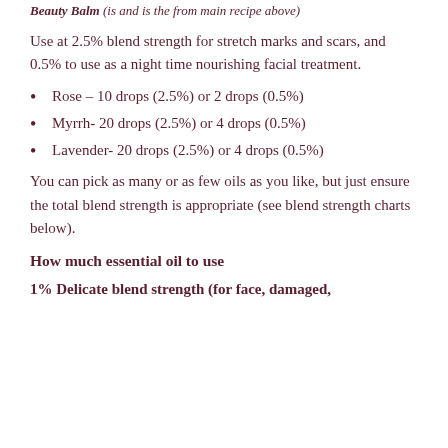Beauty Balm (is and is the from main recipe above)
Use at 2.5% blend strength for stretch marks and scars, and 0.5% to use as a night time nourishing facial treatment.
Rose – 10 drops (2.5%) or 2 drops (0.5%)
Myrrh- 20 drops (2.5%) or 4 drops (0.5%)
Lavender- 20 drops (2.5%) or 4 drops (0.5%)
You can pick as many or as few oils as you like, but just ensure the total blend strength is appropriate (see blend strength charts below).
How much essential oil to use
1% Delicate blend strength (for face, damaged,